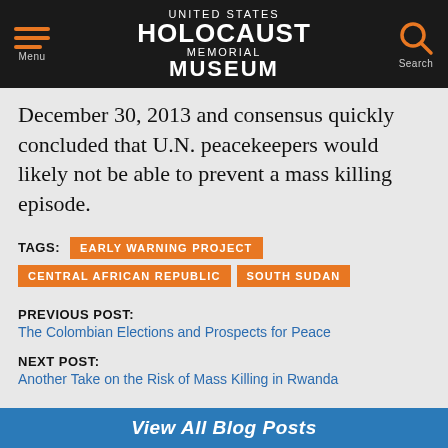UNITED STATES HOLOCAUST MEMORIAL MUSEUM
December 30, 2013 and consensus quickly concluded that U.N. peacekeepers would likely not be able to prevent a mass killing episode.
TAGS: EARLY WARNING PROJECT | CENTRAL AFRICAN REPUBLIC | SOUTH SUDAN
PREVIOUS POST:
The Colombian Elections and Prospects for Peace
NEXT POST:
Another Take on the Risk of Mass Killing in Rwanda
View All Blog Posts